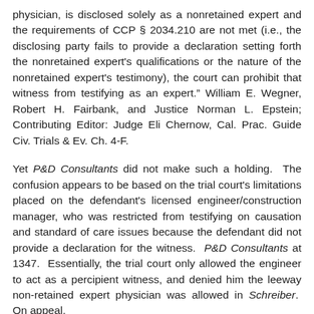physician, is disclosed solely as a nonretained expert and the requirements of CCP § 2034.210 are not met (i.e., the disclosing party fails to provide a declaration setting forth the nonretained expert's qualifications or the nature of the nonretained expert's testimony), the court can prohibit that witness from testifying as an expert." William E. Wegner, Robert H. Fairbank, and Justice Norman L. Epstein; Contributing Editor: Judge Eli Chernow, Cal. Prac. Guide Civ. Trials & Ev. Ch. 4-F.
Yet P&D Consultants did not make such a holding. The confusion appears to be based on the trial court's limitations placed on the defendant's licensed engineer/construction manager, who was restricted from testifying on causation and standard of care issues because the defendant did not provide a declaration for the witness. P&D Consultants at 1347. Essentially, the trial court only allowed the engineer to act as a percipient witness, and denied him the leeway non-retained expert physician was allowed in Schreiber. On appeal,